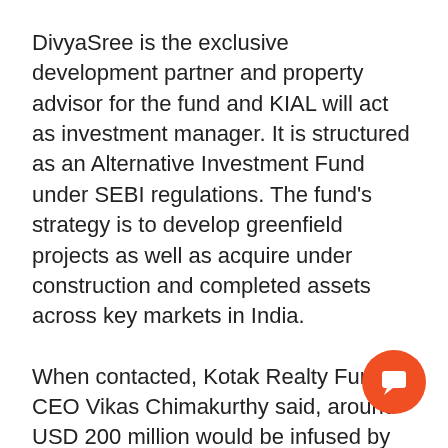DivyaSree is the exclusive development partner and property advisor for the fund and KIAL will act as investment manager. It is structured as an Alternative Investment Fund under SEBI regulations. The fund's strategy is to develop greenfield projects as well as acquire under construction and completed assets across key markets in India.
When contacted, Kotak Realty Funds CEO Vikas Chimakurthy said, around USD 200 million would be infused by ADIA and the rest would be pumped in by KIAL and DivyaSree. He said projects are being